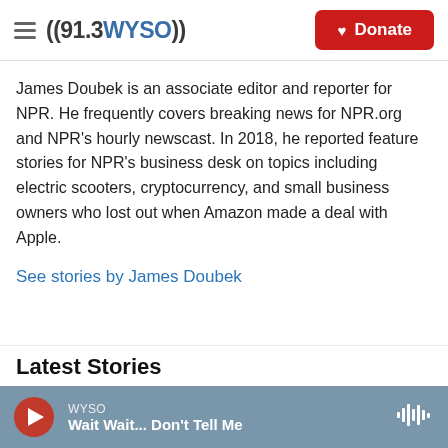((91.3 WYSO)) — Donate
James Doubek is an associate editor and reporter for NPR. He frequently covers breaking news for NPR.org and NPR's hourly newscast. In 2018, he reported feature stories for NPR's business desk on topics including electric scooters, cryptocurrency, and small business owners who lost out when Amazon made a deal with Apple.
See stories by James Doubek
Latest Stories
WYSO — Wait Wait... Don't Tell Me